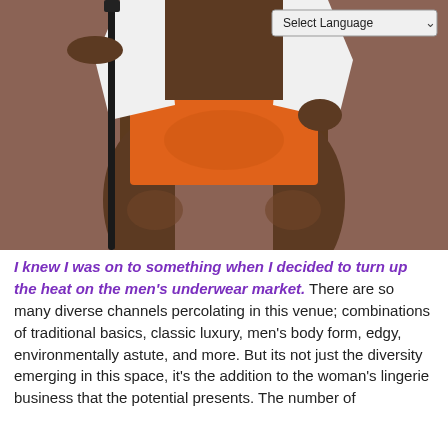[Figure (photo): A man wearing an open white shirt and orange boxer briefs, holding a black walking stick/cane. He is photographed from the neck/shoulders down against a warm brown background. A 'Select Language' dropdown widget is overlaid in the top-right corner of the image.]
I knew I was on to something when I decided to turn up the heat on the men's underwear market. There are so many diverse channels percolating in this venue; combinations of traditional basics, classic luxury, men's body form, edgy, environmentally astute, and more. But its not just the diversity emerging in this space, it's the addition to the woman's lingerie business that the potential presents. The number of